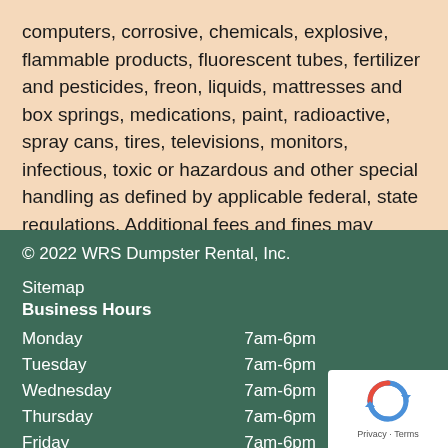computers, corrosive, chemicals, explosive, flammable products, fluorescent tubes, fertilizer and pesticides, freon, liquids, mattresses and box springs, medications, paint, radioactive, spray cans, tires, televisions, monitors, infectious, toxic or hazardous and other special handling as defined by applicable federal, state regulations. Additional fees and fines may apply.
© 2022 WRS Dumpster Rental, Inc.
Sitemap
Business Hours
| Day | Hours |
| --- | --- |
| Monday | 7am-6pm |
| Tuesday | 7am-6pm |
| Wednesday | 7am-6pm |
| Thursday | 7am-6pm |
| Friday | 7am-6pm |